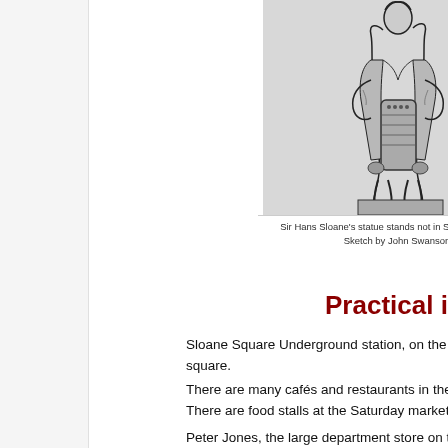[Figure (illustration): Sketch of Sir Hans Sloane's statue, showing a figure holding a guitar, rendered in black and white ink style]
Sir Hans Sloane's statue stands not in Sloane Square b
Sketch by John Swanson
Practical informa
Sloane Square Underground station, on the Circle and square.
There are many cafés and restaurants in the area, but There are food stalls at the Saturday market in Duke o
Peter Jones, the large department store on the west si